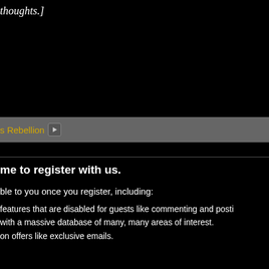thoughts.]
s Rebellion ▶
me to register with us.
ble to you once you register, including:
features that are disabled for guests like commenting and posti
with a massive database of many, many areas of interest.
on offers like exclusive emails.